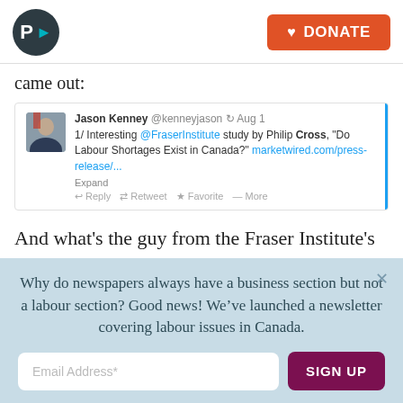P> [logo] DONATE
came out:
[Figure (screenshot): Embedded tweet from Jason Kenney @kenneyjason, Aug 1: '1/ Interesting @FraserInstitute study by Philip Cross, "Do Labour Shortages Exist in Canada?" marketwired.com/press-release/...' with Expand, Reply, Retweet, Favorite, More actions.]
And what's the guy from the Fraser Institute's response to Kenney's statement about an “untested” and “riculous” claim?
Why do newspapers always have a business section but not a labour section? Good news! We've launched a newsletter covering labour issues in Canada.
Email Address* SIGN UP